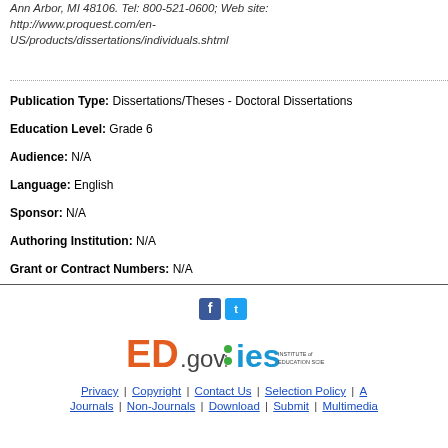Ann Arbor, MI 48106. Tel: 800-521-0600; Web site: http://www.proquest.com/en-US/products/dissertations/individuals.shtml
Publication Type: Dissertations/Theses - Doctoral Dissertations
Education Level: Grade 6
Audience: N/A
Language: English
Sponsor: N/A
Authoring Institution: N/A
Grant or Contract Numbers: N/A
[Figure (logo): ED.gov IES Institute of Education Sciences logo with Facebook and Twitter social media icons above]
Privacy | Copyright | Contact Us | Selection Policy | A | Journals | Non-Journals | Download | Submit | Multimedia